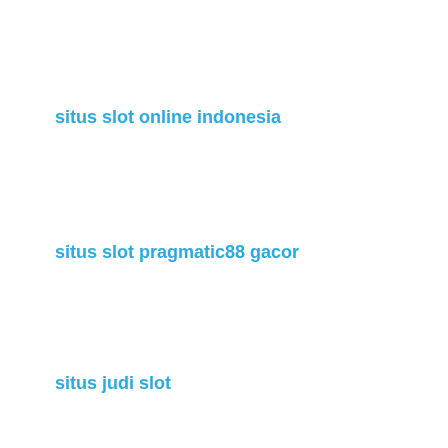situs slot online indonesia
situs slot pragmatic88 gacor
situs judi slot